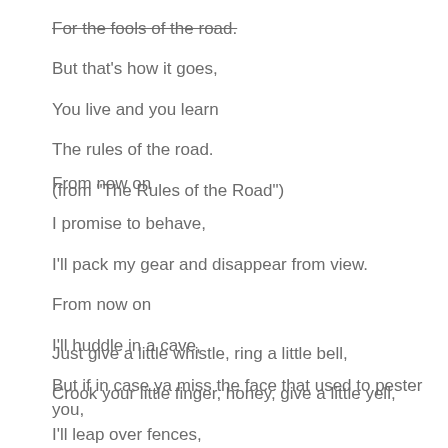For the fools of the road.
But that's how it goes,
You live and you learn
The rules of the road.
(from "The Rules of the Road")
From now on
I promise to behave,
I'll pack my gear and disappear from view.
From now on
I'll huddle in a cave,
But if in case ya miss the face that used to pester you,
Just give a little whistle, ring a little bell,
Crook your little finger, honey, give a little yell,
I'll leap over fences,
I'll even leave my senses
And I'll take, for your sake, to the air.
Just give a little whistle,
Say you want me, and I'll be there.
(from "Give a Little Whistle," Wildcat